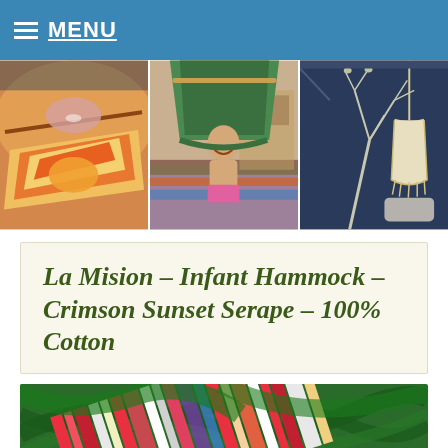MENU
[Figure (photo): Three photos: left - person in orange/yellow hammock, center - child sitting under green hammock tent indoors, right - cream hammock hanging in dark blue room with tree branch decor]
La Mision – Infant Hammock – Crimson Sunset Serape – 100% Cotton
[Figure (photo): Close-up of colorful striped hammock fabric in red, pink, white and multicolor stripes with green palm leaves in background]